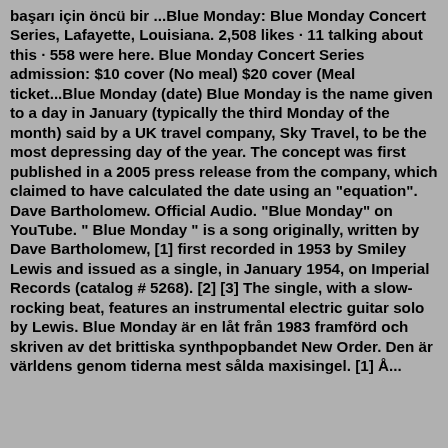başarı için öncü bir ...Blue Monday: Blue Monday Concert Series, Lafayette, Louisiana. 2,508 likes · 11 talking about this · 558 were here. Blue Monday Concert Series admission: $10 cover (No meal) $20 cover (Meal ticket...Blue Monday (date) Blue Monday is the name given to a day in January (typically the third Monday of the month) said by a UK travel company, Sky Travel, to be the most depressing day of the year. The concept was first published in a 2005 press release from the company, which claimed to have calculated the date using an "equation". Dave Bartholomew. Official Audio. "Blue Monday" on YouTube. " Blue Monday " is a song originally, written by Dave Bartholomew, [1] first recorded in 1953 by Smiley Lewis and issued as a single, in January 1954, on Imperial Records (catalog # 5268). [2] [3] The single, with a slow-rocking beat, features an instrumental electric guitar solo by Lewis. Blue Monday är en låt från 1983 framförd och skriven av det brittiska synthpopbandet New Order. Den är världens genom tiderna mest sålda maxisingel. [1] Å...